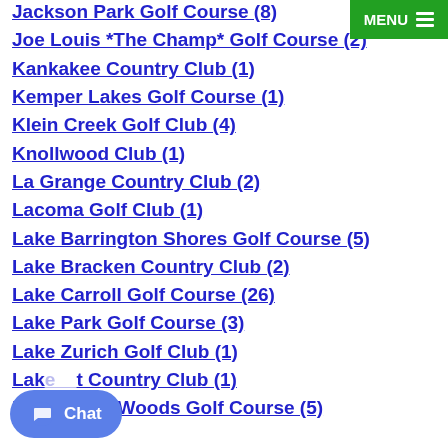Jackson Park Golf Course (8)
Joe Louis *The Champ* Golf Course (2)
Kankakee Country Club (1)
Kemper Lakes Golf Course (1)
Klein Creek Golf Club (4)
Knollwood Club (1)
La Grange Country Club (2)
Lacoma Golf Club (1)
Lake Barrington Shores Golf Course (5)
Lake Bracken Country Club (2)
Lake Carroll Golf Course (26)
Lake Park Golf Course (3)
Lake Zurich Golf Club (1)
Lak__t Country Club (1)
Lake of the Woods Golf Course (5)